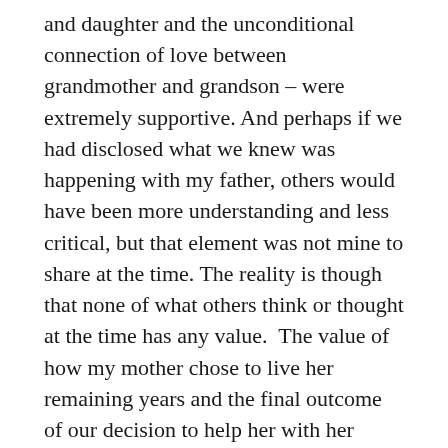and daughter and the unconditional connection of love between grandmother and grandson – were extremely supportive. And perhaps if we had disclosed what we knew was happening with my father, others would have been more understanding and less critical, but that element was not mine to share at the time. The reality is though that none of what others think or thought at the time has any value.  The value of how my mother chose to live her remaining years and the final outcome of our decision to help her with her battle, however and wherever she wanted, is seen here.
The boy who sat on Nana's bed after he came